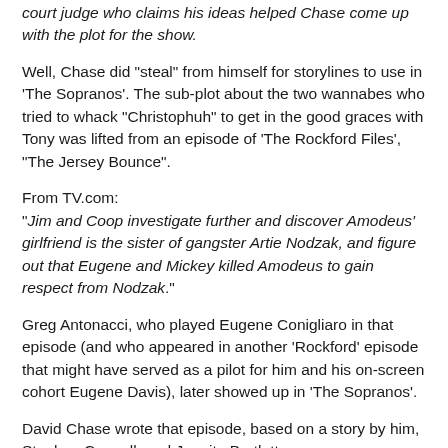court judge who claims his ideas helped Chase come up with the plot for the show.
Well, Chase did "steal" from himself for storylines to use in 'The Sopranos'. The sub-plot about the two wannabes who tried to whack "Christophuh" to get in the good graces with Tony was lifted from an episode of 'The Rockford Files', "The Jersey Bounce".
From TV.com:
"Jim and Coop investigate further and discover Amodeus' girlfriend is the sister of gangster Artie Nodzak, and figure out that Eugene and Mickey killed Amodeus to gain respect from Nodzak."
Greg Antonacci, who played Eugene Conigliaro in that episode (and who appeared in another 'Rockford' episode that might have served as a pilot for him and his on-screen cohort Eugene Davis), later showed up in 'The Sopranos'.
David Chase wrote that episode, based on a story by him, Stephen Cannell, and Juanita Bartlett.